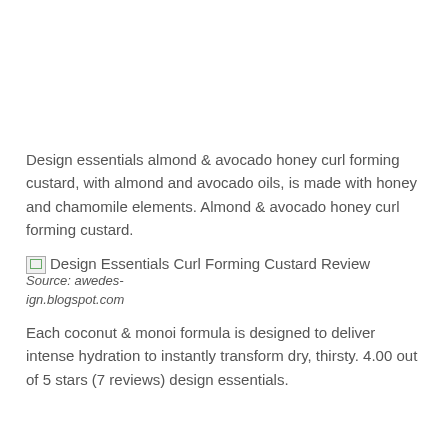Design essentials almond & avocado honey curl forming custard, with almond and avocado oils, is made with honey and chamomile elements. Almond & avocado honey curl forming custard.
[Figure (photo): Broken image placeholder for 'Design Essentials Curl Forming Custard Review' with source attribution: awedes-ign.blogspot.com]
Each coconut & monoi formula is designed to deliver intense hydration to instantly transform dry, thirsty. 4.00 out of 5 stars (7 reviews) design essentials.